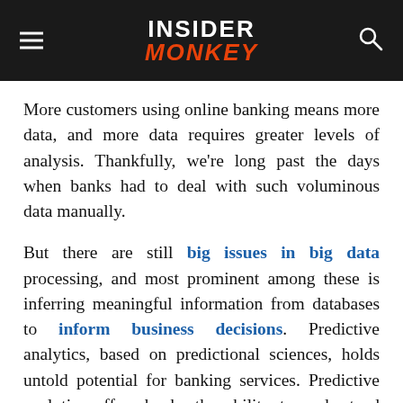INSIDER MONKEY
More customers using online banking means more data, and more data requires greater levels of analysis. Thankfully, we're long past the days when banks had to deal with such voluminous data manually.
But there are still big issues in big data processing, and most prominent among these is inferring meaningful information from databases to inform business decisions. Predictive analytics, based on predictional sciences, holds untold potential for banking services. Predictive analytics offers banks the ability to understand and predict customer